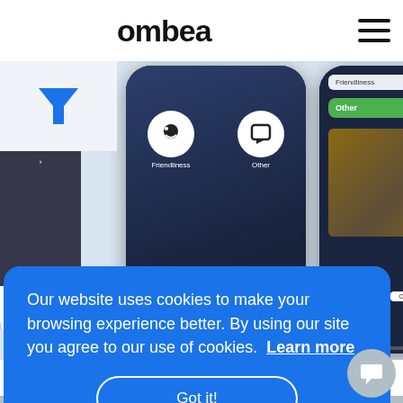ombea
[Figure (screenshot): Blue funnel/filter icon on light gray background]
[Figure (screenshot): Multiple smartphone screenshots showing the Ombea app with survey options like Friendliness and Other, displayed in a horizontal carousel on a light blue-gray background]
Beautify Link Streams
Our website uses cookies to make your browsing experience better. By using our site you agree to our use of cookies.  Learn more
Got it!